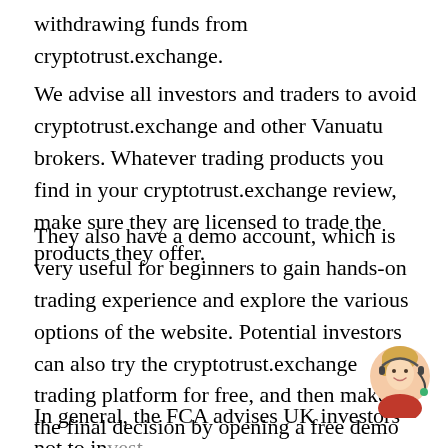withdrawing funds from cryptotrust.exchange.
We advise all investors and traders to avoid cryptotrust.exchange and other Vanuatu brokers. Whatever trading products you find in your cryptotrust.exchange review, make sure they are licensed to trade the products they offer.
They also have a demo account, which is very useful for beginners to gain hands-on trading experience and explore the various options of the website. Potential investors can also try the cryptotrust.exchange trading platform for free, and then make the final decision by opening a free demo account.
In general, the FCA advises UK investors not to invest
[Figure (photo): A smiling woman wearing a headset, customer support representative photo, circular/oval crop, positioned at bottom right of the page.]